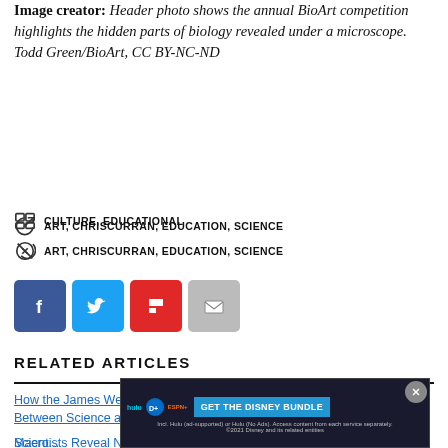Image creator: Header photo shows the annual BioArt competition highlights the hidden parts of biology revealed under a microscope. Todd Green/BioArt, CC BY-NC-ND
CULTURE, EDUCATIONAL
ART, CHRISCURRAN, EDUCATION, SCIENCE
[Figure (other): Social sharing buttons: Facebook (blue), Twitter (light blue), Flipboard (red), Email (gray)]
RELATED ARTICLES
How the James Webb Deep Field Images Reminded Me the Divide Between Science and Art is Artificial
Scientists Reveal New Info on 'Giant Jets' of Lightning in the Atmosphere
Macro...99.98%
[Figure (other): Disney Bundle advertisement overlay with Hulu, Disney+, ESPN+ logos and GET THE DISNEY BUNDLE button]